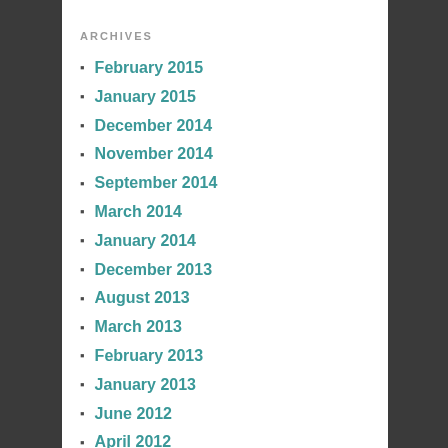ARCHIVES
February 2015
January 2015
December 2014
November 2014
September 2014
March 2014
January 2014
December 2013
August 2013
March 2013
February 2013
January 2013
June 2012
April 2012
March 2012
February 2012
January 2012
December 2011
November 2011